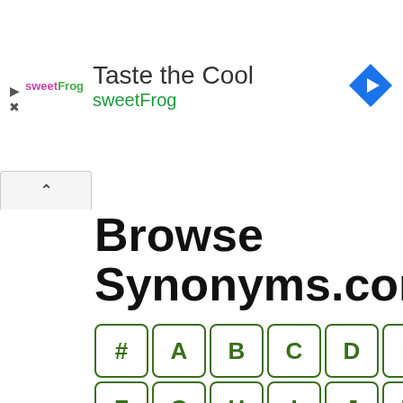[Figure (other): sweetFrog advertisement banner with logo, 'Taste the Cool' headline, 'sweetFrog' link in green, and a blue navigation diamond icon]
Browse Synonyms.com
[Figure (infographic): Alphabetical browse grid with letter buttons: #, A, B, C, D, E, F, G, H, I, J, K, L, M, N, O, P, Q, R, S, T, U, V, W, X, Y, Z]